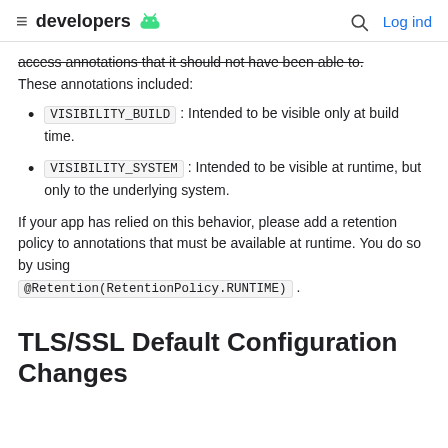≡ developers [android logo] [search] Log ind
access annotations that it should not have been able to. These annotations included:
VISIBILITY_BUILD : Intended to be visible only at build time.
VISIBILITY_SYSTEM : Intended to be visible at runtime, but only to the underlying system.
If your app has relied on this behavior, please add a retention policy to annotations that must be available at runtime. You do so by using @Retention(RetentionPolicy.RUNTIME).
TLS/SSL Default Configuration Changes